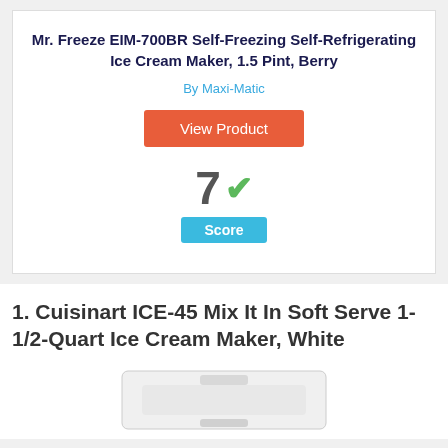Mr. Freeze EIM-700BR Self-Freezing Self-Refrigerating Ice Cream Maker, 1.5 Pint, Berry
By Maxi-Matic
View Product
[Figure (infographic): Score badge showing '7' with a green checkmark and a blue 'Score' label below]
1. Cuisinart ICE-45 Mix It In Soft Serve 1-1/2-Quart Ice Cream Maker, White
[Figure (photo): Product image of the Cuisinart ICE-45 ice cream maker, white]